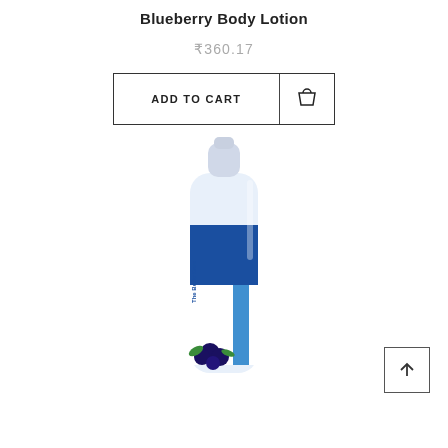Blueberry Body Lotion
₹360.17
[Figure (screenshot): Add to Cart button with shopping bag icon, rectangular border, divider between text and icon]
[Figure (photo): The Body Care Blueberry Body Lotion bottle — white pump bottle with blue label featuring blueberry imagery and brand name 'The Body Care']